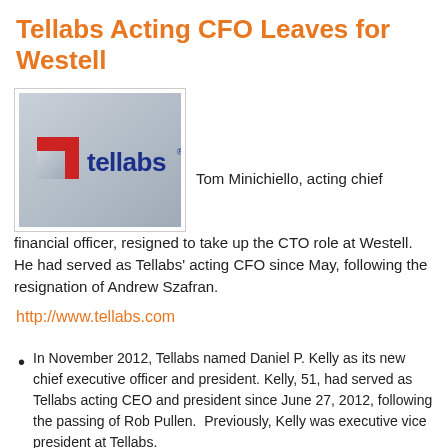Tellabs Acting CFO Leaves for Westell
[Figure (photo): Tellabs company logo sign — red stylized 'T' icon next to 'tellabs' text in blue on a gray/white background]
Tom Minichiello, acting chief financial officer, resigned to take up the CTO role at Westell. He had served as Tellabs' acting CFO since May, following the resignation of Andrew Szafran.
http://www.tellabs.com
In November 2012, Tellabs named Daniel P. Kelly as its new chief executive officer and president. Kelly, 51, had served as Tellabs acting CEO and president since June 27, 2012, following the passing of Rob Pullen. Previously, Kelly was executive vice president at Tellabs.